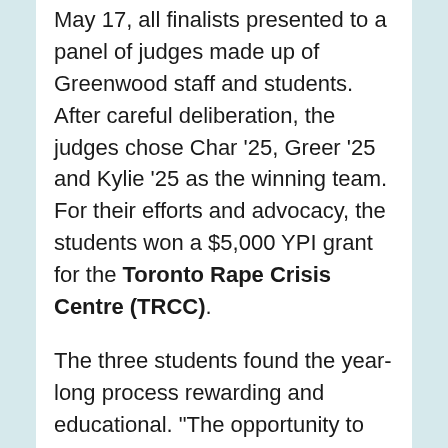May 17, all finalists presented to a panel of judges made up of Greenwood staff and students. After careful deliberation, the judges chose Char '25, Greer '25 and Kylie '25 as the winning team. For their efforts and advocacy, the students won a $5,000 YPI grant for the Toronto Rape Crisis Centre (TRCC).
The three students found the year-long process rewarding and educational. "The opportunity to connect with